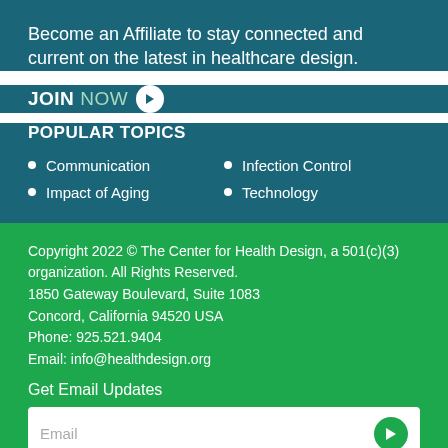Become an Affiliate to stay connected and current on the latest in healthcare design.
JOIN NOW →
POPULAR TOPICS
Communication
Infection Control
Impact of Aging
Technology
Copyright 2022 © The Center for Health Design, a 501(c)(3) organization. All Rights Reserved.
1850 Gateway Boulevard, Suite 1083
Concord, California 94520 USA
Phone: 925.521.9404
Email: info@healthdesign.org
Get Email Updates
Email